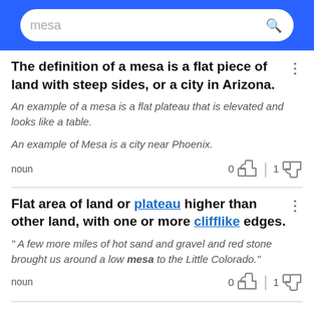[Figure (screenshot): Search bar with text 'mesa' and search icon on blue background]
The definition of a mesa is a flat piece of land with steep sides, or a city in Arizona.
An example of a mesa is a flat plateau that is elevated and looks like a table.
An example of Mesa is a city near Phoenix.
noun
0 [thumbs up] | 1 [thumbs down]
Flat area of land or plateau higher than other land, with one or more clifflike edges.
" A few more miles of hot sand and gravel and red stone brought us around a low mesa to the Little Colorado."
noun
0 [thumbs up] | 1 [thumbs down]